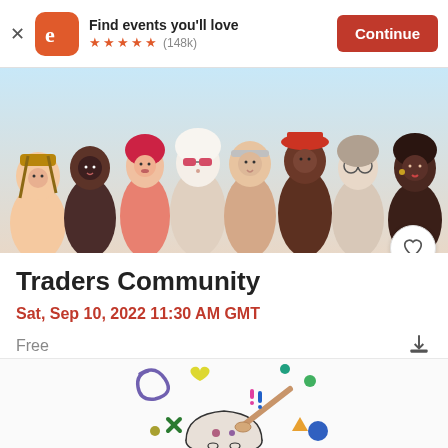[Figure (screenshot): Eventbrite app banner with orange 'e' logo, 'Find events you'll love' text, 5 orange stars, (148k) reviews, and orange 'Continue' button]
[Figure (illustration): Colorful illustrated banner showing diverse group of people / crowd illustration]
Traders Community
Sat, Sep 10, 2022 11:30 AM GMT
Free
[Figure (illustration): Hand-drawn cartoon illustration of a small figure/character with colorful elements like hearts, stars, circles, and shapes floating around it]